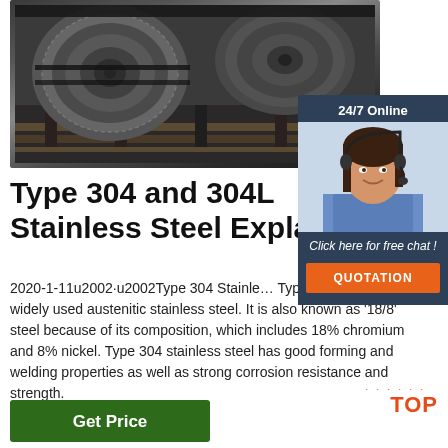[Figure (photo): Industrial stainless steel coils stacked in a warehouse/factory setting, showing large cylindrical rolls of metal sheet]
[Figure (infographic): 24/7 Online customer service widget with a woman wearing a headset, a 'Click here for free chat!' prompt, and an orange QUOTATION button]
Type 304 and 304L Stainless Steel Explain
2020-1-11u2002·u2002Type 304 Stainless… Type 304 is the most widely used austenitic stainless steel. It is also known as '18/8' steel because of its composition, which includes 18% chromium and 8% nickel. Type 304 stainless steel has good forming and welding properties as well as strong corrosion resistance and strength.
[Figure (other): Green 'Get Price' button at bottom left]
[Figure (logo): TOP logo in orange/red at bottom right]